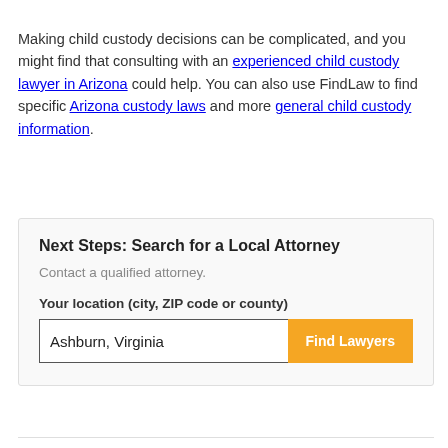Making child custody decisions can be complicated, and you might find that consulting with an experienced child custody lawyer in Arizona could help. You can also use FindLaw to find specific Arizona custody laws and more general child custody information.
Next Steps: Search for a Local Attorney
Contact a qualified attorney.
Your location (city, ZIP code or county)
Ashburn, Virginia